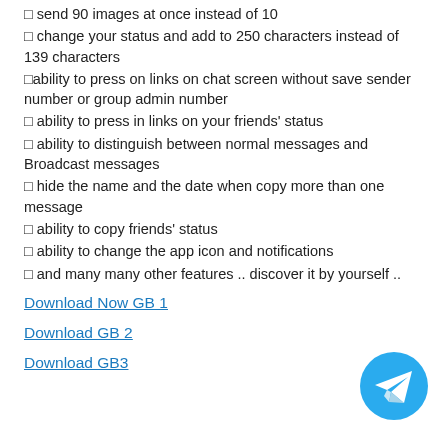⬜ send 90 images at once instead of 10
⬜ change your status and add to 250 characters instead of 139 characters
⬜ability to press on links on chat screen without save sender number or group admin number
⬜ ability to press in links on your friends' status
⬜ ability to distinguish between normal messages and Broadcast messages
⬜ hide the name and the date when copy more than one message
⬜ ability to copy friends' status
⬜ ability to change the app icon and notifications
⬜ and many many other features .. discover it by yourself ..
Download Now GB 1
Download GB 2
Download GB3
[Figure (logo): Telegram blue circular icon with white paper plane]